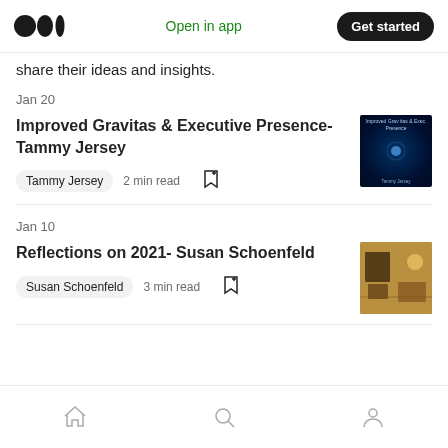Medium logo | Open in app | Get started
share their ideas and insights.
Jan 20
Improved Gravitas & Executive Presence- Tammy Jersey
Tammy Jersey   2 min read
Jan 10
Reflections on 2021- Susan Schoenfeld
Susan Schoenfeld   3 min read